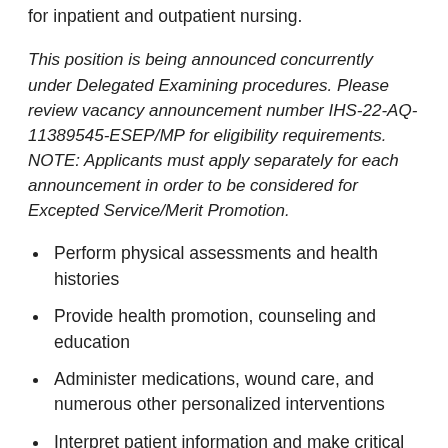for inpatient and outpatient nursing.
This position is being announced concurrently under Delegated Examining procedures. Please review vacancy announcement number IHS-22-AQ-11389545-ESEP/MP for eligibility requirements. NOTE: Applicants must apply separately for each announcement in order to be considered for Excepted Service/Merit Promotion.
Perform physical assessments and health histories
Provide health promotion, counseling and education
Administer medications, wound care, and numerous other personalized interventions
Interpret patient information and make critical decisions about needed actions
Coordinate care, in collaboration with a wide array